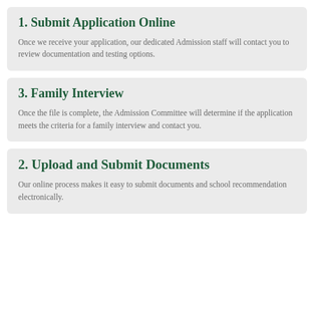1. Submit Application Online
Once we receive your application, our dedicated Admission staff will contact you to review documentation and testing options.
3. Family Interview
Once the file is complete, the Admission Committee will determine if the application meets the criteria for a family interview and contact you.
2. Upload and Submit Documents
Our online process makes it easy to submit documents and school recommendation electronically.